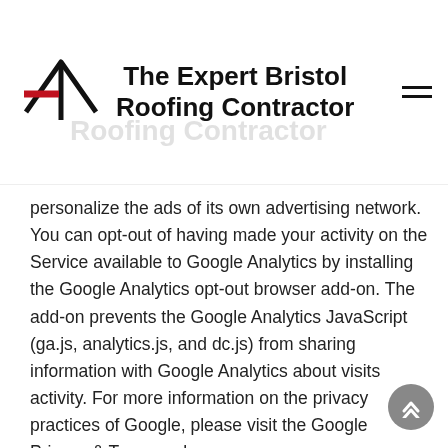The Expert Bristol Roofing Contractor
personalize the ads of its own advertising network. You can opt-out of having made your activity on the Service available to Google Analytics by installing the Google Analytics opt-out browser add-on. The add-on prevents the Google Analytics JavaScript (ga.js, analytics.js, and dc.js) from sharing information with Google Analytics about visits activity. For more information on the privacy practices of Google, please visit the Google Privacy & Terms web page: https://policies.google.com/privacy?hl=e